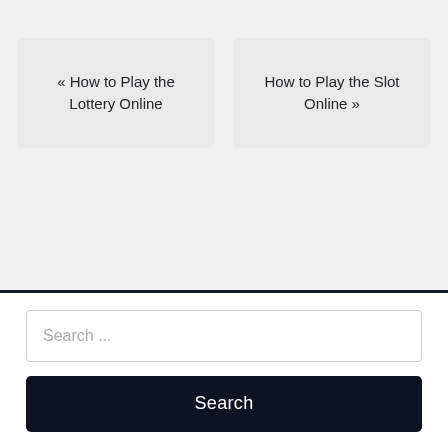« How to Play the Lottery Online
How to Play the Slot Online »
Search ...
Search